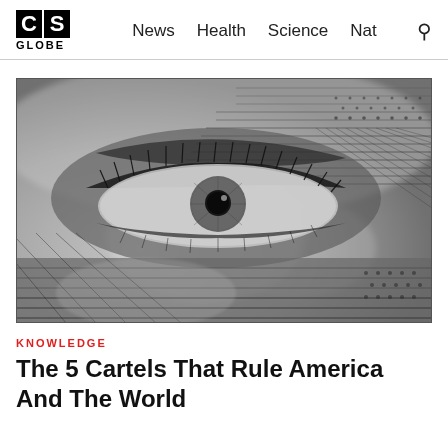CS GLOBE | News  Health  Science  Nat
[Figure (photo): Extreme close-up macro photograph of an eye detail from a US dollar bill engraving, black and white, showing fine crosshatch engraving lines and the distinctive eye with eyelashes from currency artwork.]
KNOWLEDGE
The 5 Cartels That Rule America And The World